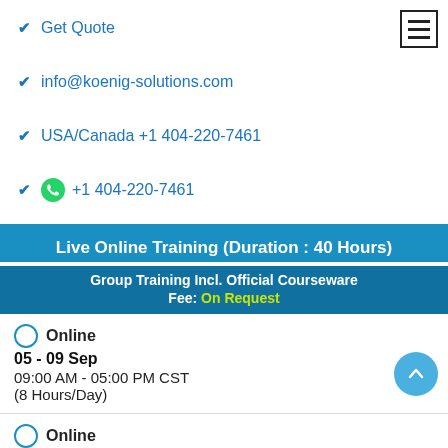Get Quote
info@koenig-solutions.com
USA/Canada +1 404-220-7461
+1 404-220-7461
| Live Online Training (Duration : 40 Hours) |
| Group Training Incl. Official Courseware | Fee: On Request |
| Online | 05 - 09 Sep | 09:00 AM - 05:00 PM CST | (8 Hours/Day) |
| Online | 03 - 07 Oct | 09:00 AM - 05:00 PM CST |